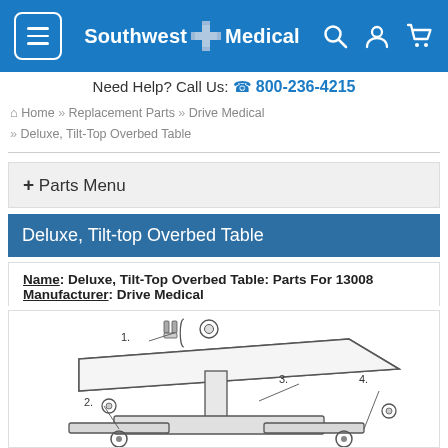Southwest Medical
Need Help? Call Us: 800-236-4215
Home » Replacement Parts » Drive Medical » Deluxe, Tilt-Top Overbed Table
+ Parts Menu
Deluxe, Tilt-top Overbed Table
Name: Deluxe, Tilt-Top Overbed Table: Parts For 13008
Manufacturer: Drive Medical
[Figure (engineering-diagram): Exploded parts diagram of the Deluxe, Tilt-Top Overbed Table showing numbered components 1, 2, 3, 4 with callout lines pointing to various parts including bolts, base, column, and caster wheels.]